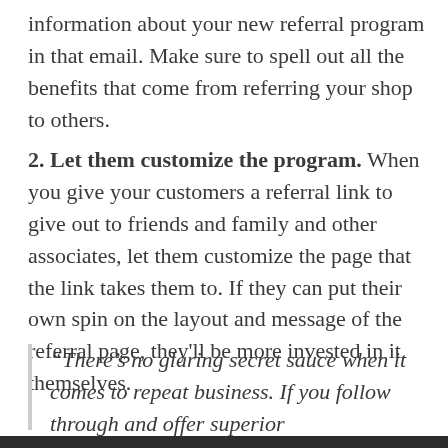information about your new referral program in that email. Make sure to spell out all the benefits that come from referring your shop to others.
2. Let them customize the program. When you give your customers a referral link to give out to friends and family and other associates, let them customize the page that the link takes them to. If they can put their own spin on the layout and message of the referral page, they'll be more invested in it themselves.
“There’s no glaring secret sauce when it comes to repeat business. If you follow through and offer superior